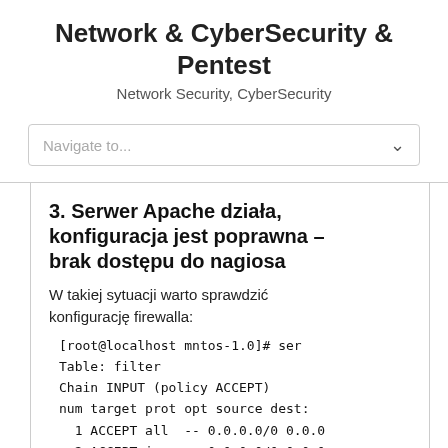Network & CyberSecurity & Pentest
Network Security, CyberSecurity
Navigate to...
3. Serwer Apache działa, konfiguracja jest poprawna – brak dostępu do nagiosa
W takiej sytuacji warto sprawdzić konfigurację firewalla:
[root@localhost mntos-1.0]# ser
Table: filter
Chain INPUT (policy ACCEPT)
num target prot opt source dest:
1 ACCEPT all -- 0.0.0.0/0 0.0.0
2 ACCEPT icmp -- 0.0.0.0/0 0.0.0
3 ACCEPT all -- 0.0.0.0/0 0.0.0
4 ACCEPT ...